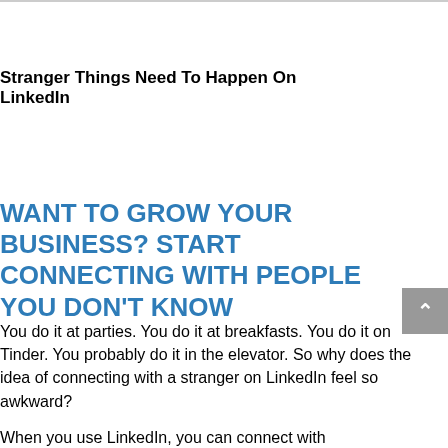Stranger Things Need To Happen On LinkedIn
WANT TO GROW YOUR BUSINESS? START CONNECTING WITH PEOPLE YOU DON'T KNOW
You do it at parties. You do it at breakfasts. You do it on Tinder. You probably do it in the elevator. So why does the idea of connecting with a stranger on LinkedIn feel so awkward?
When you use LinkedIn, you can connect with...